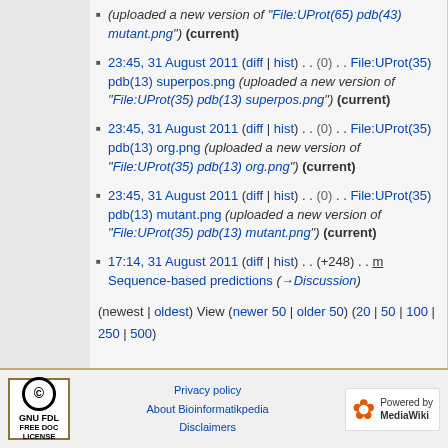(uploaded a new version of "File:UProt(65) pdb(43) mutant.png") (current)
23:45, 31 August 2011 (diff | hist) . . (0) . . File:UProt(35) pdb(13) superpos.png (uploaded a new version of "File:UProt(35) pdb(13) superpos.png") (current)
23:45, 31 August 2011 (diff | hist) . . (0) . . File:UProt(35) pdb(13) org.png (uploaded a new version of "File:UProt(35) pdb(13) org.png") (current)
23:45, 31 August 2011 (diff | hist) . . (0) . . File:UProt(35) pdb(13) mutant.png (uploaded a new version of "File:UProt(35) pdb(13) mutant.png") (current)
17:14, 31 August 2011 (diff | hist) . . (+248) . . m Sequence-based predictions (→Discussion)
(newest | oldest) View (newer 50 | older 50) (20 | 50 | 100 | 250 | 500)
GNU FDL FREE DOC LICENSE | Privacy policy | About Bioinformatikpedia | Disclaimers | Powered by MediaWiki